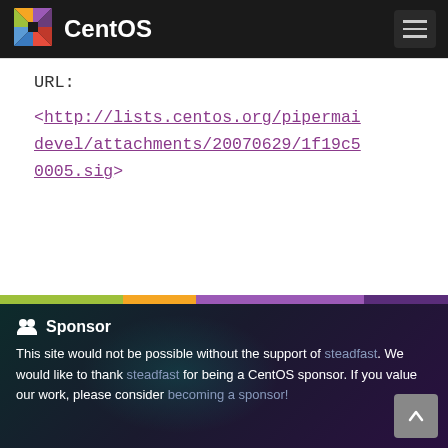CentOS
URL:
<http://lists.centos.org/pipermail/devel/attachments/20070629/1f19c50005.sig>
🤲 Sponsor
This site would not be possible without the support of steadfast. We would like to thank steadfast for being a CentOS sponsor. If you value our work, please consider becoming a sponsor!